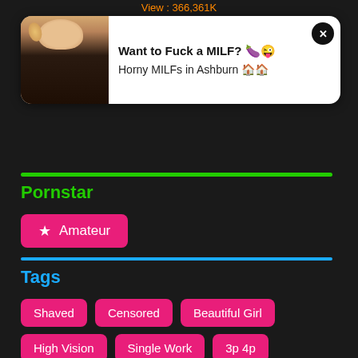View : 366,361K
[Figure (screenshot): Advertisement popup with woman photo, text 'Want to Fuck a MILF? Horny MILFs in Ashburn' with close button]
Pornstar
★ Amateur
Tags
Shaved
Censored
Beautiful Girl
High Vision
Single Work
3p 4p